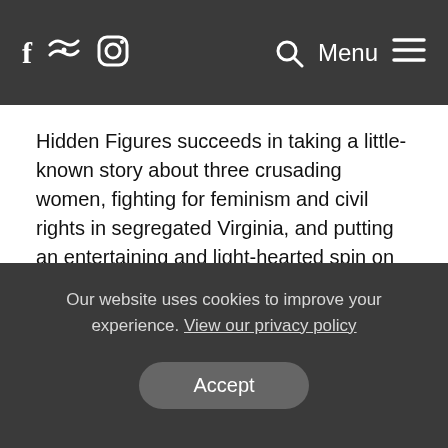f [twitter] [instagram]    [search] Menu [hamburger]
Hidden Figures succeeds in taking a little-known story about three crusading women, fighting for feminism and civil rights in segregated Virginia, and putting an entertaining and light-hearted spin on it. Like Hacksaw Ridge recently, this is a story about forgotten or unknown heroes, truly worthy of wider recognition.
Taraji P Henson, Octavia Spencer and Janelle Monáe star as our boffins, all working together at NASA and struggling to get the recognition they deserve. We see Hensons character
Our website uses cookies to improve your experience. View our privacy policy  Accept